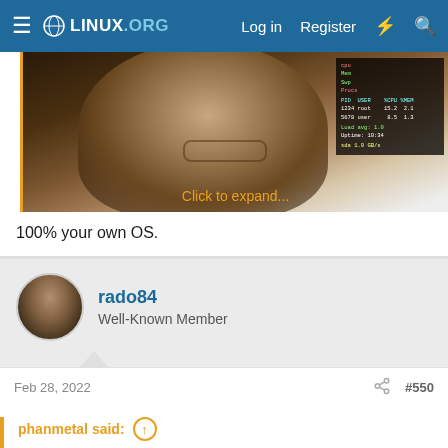LINUX.ORG — Log in | Register
[Figure (screenshot): Blurred photo of a woman with glasses overlaid with a terminal/htop output. Text 'Click to expand...' shown in orange at bottom.]
100% your own OS.
rado84 — Well-Known Member
Feb 28, 2022  #550
phanmetal said:
100% your own OS.